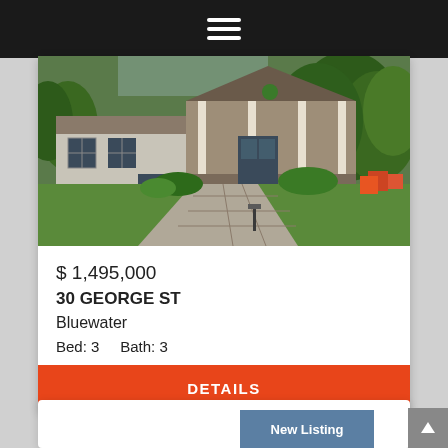Navigation menu (hamburger icon)
[Figure (photo): Exterior photo of a house at 30 George St, Bluewater. Shows a craftsman-style home with stone accents and a covered porch, surrounded by green lawn and landscaping with a paved walkway.]
$ 1,495,000
30 GEORGE ST
Bluewater
Bed: 3    Bath: 3
DETAILS
New Listing